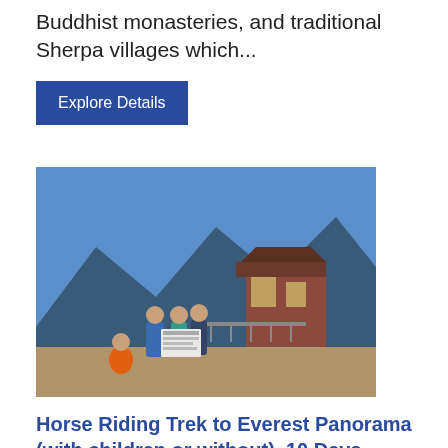Buddhist monasteries, and traditional Sherpa villages which...
Explore Details
[Figure (photo): Group of trekkers posing outdoors near mountain buildings with clear blue sky, some holding a sign, with mountains in background.]
Horse Riding Trek to Everest Panorama (with children or without), 10 Days
/ from 1.330 USD / Days: 10 / Difficulty: 2 of 5 (Moderate)
Horse Riding Trek to Everest Panorama (with children or without) is an interesting trek in the Khumbu region that allows you to relish the picturesque view of the snow-capped mountains shining brightly above the clouds while